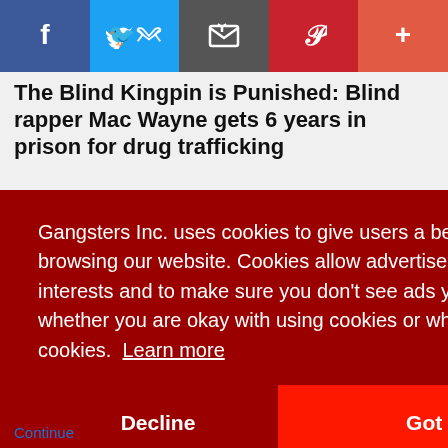[Figure (screenshot): Social media share bar with Facebook, Twitter, Email, Pinterest, and More (+) buttons]
The Blind Kingpin is Punished: Blind rapper Mac Wayne gets 6 years in prison for drug trafficking
Gangsters Inc. uses cookies to give users a better experience while browsing our website. Cookies allow advertisers to target ads based on your interests and to make sure you don't see ads you don't like. Please click whether you are okay with using cookies or whether you decline the use of cookies. Learn more
Decline
Got it!